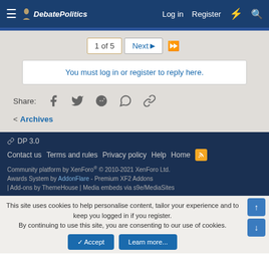DebatePolitics | Log in | Register
1 of 5  Next ▶  ▶▶
You must log in or register to reply here.
Share: (social icons: Facebook, Twitter, Reddit, WhatsApp, Link)
< Archives
DP 3.0 | Contact us | Terms and rules | Privacy policy | Help | Home | Community platform by XenForo® © 2010-2021 XenForo Ltd. Awards System by AddonFlare - Premium XF2 Addons | Add-ons by ThemeHouse | Media embeds via s9e/MediaSites
This site uses cookies to help personalise content, tailor your experience and to keep you logged in if you register. By continuing to use this site, you are consenting to our use of cookies.